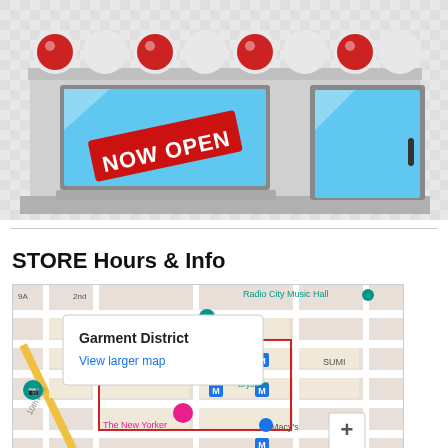[Figure (illustration): Cartoon storefront illustration with red and white striped awning, a large shop window displaying a red 'NOW OPEN' banner sign, and a glass door with a dark handle, set against a checkered transparency background.]
STORE Hours & Info
[Figure (map): Google Maps screenshot showing the Garment District area of New York City with a popup label reading 'Garment District' and a blue link 'View larger map'. The map shows streets including 10th Ave, landmarks including Radio City Music Hall, Bryant Park, The New Yorker hotel, and Macy's, with various transit and location markers.]